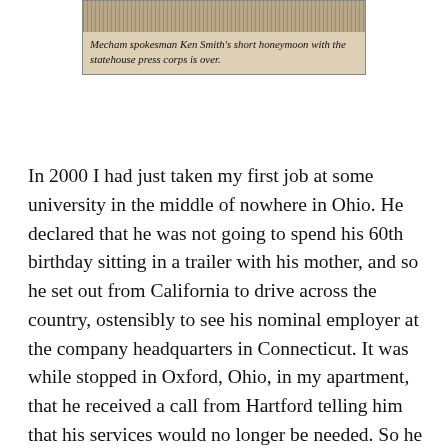[Figure (photo): Newspaper clipping photo at top, partially visible, with italic caption text: 'Mecham spokesman Ken Smith's short honeymoon with the statehouse press corps is over.']
Mecham spokesman Ken Smith's short honeymoon with the statehouse press corps is over.
In 2000 I had just taken my first job at some university in the middle of nowhere in Ohio. He declared that he was not going to spend his 60th birthday sitting in a trailer with his mother, and so he set out from California to drive across the country, ostensibly to see his nominal employer at the company headquarters in Connecticut. It was while stopped in Oxford, Ohio, in my apartment, that he received a call from Hartford telling him that his services would no longer be needed. So he hung around for a month, then another month, driving his old BMW around town, listening to Moby on his custom car speakers, and watching Genghis Blues at